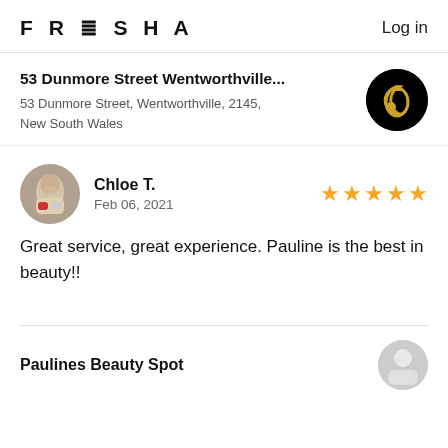FRESHA   Log in
53 Dunmore Street Wentworthville...
53 Dunmore Street, Wentworthville, 2145, New South Wales
Chloe T.
Feb 06, 2021
★★★★★
Great service, great experience. Pauline is the best in beauty!!
Paulines Beauty Spot